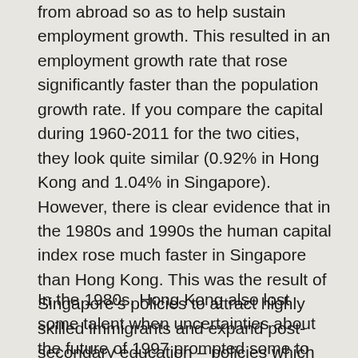from abroad so as to help sustain employment growth. This resulted in an employment growth rate that rose significantly faster than the population growth rate. If you compare the capital during 1960-2011 for the two cities, they look quite similar (0.92% in Hong Kong and 1.04% in Singapore). However, there is clear evidence that in the 1980s and 1990s the human capital index rose much faster in Singapore than Hong Kong. This was the result of Singapore's policies to attract highly skilled immigrants and expand post-secondary education – policies which were far more aggressive than Hong Kong.
In the 1980s, Hong Kong also lost some talent when uncertainties about the future of 1997 prompted some to emigrate overseas. The expansion of higher